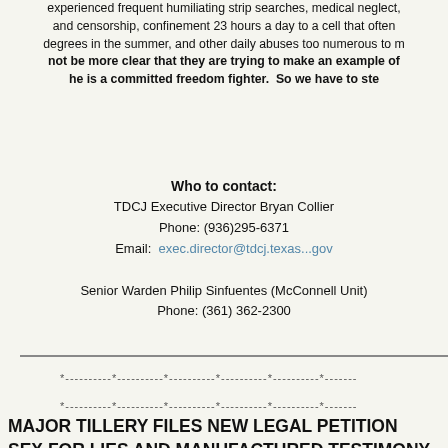experienced frequent humiliating strip searches, medical neglect, and censorship, confinement 23 hours a day to a cell that often degrees in the summer, and other daily abuses too numerous to m not be more clear that they are trying to make an example of he is a committed freedom fighter.  So we have to ste
Who to contact:
TDCJ Executive Director Bryan Collier
Phone: (936)295-6371
Email: exec.director@tdcj.texas...gov

Senior Warden Philip Sinfuentes (McConnell Unit)
Phone: (361) 362-2300
*----------*----------*----------*----------*----------*--------
*----------*----------*----------*----------*----------*--------
MAJOR TILLERY FILES NEW LEGAL PETITION SEX FOR LIES AND MANUFACTURED TESTIMONY